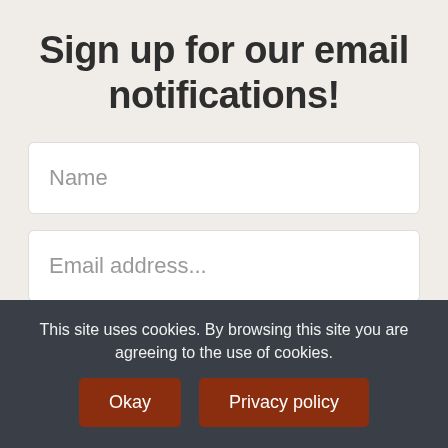Sign up for our email notifications!
Name
Email address...
This site uses cookies. By browsing this site you are agreeing to the use of cookies.
Okay
Privacy policy